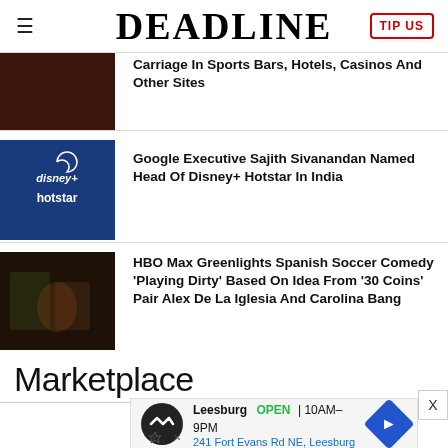DEADLINE
Carriage In Sports Bars, Hotels, Casinos And Other Sites
[Figure (photo): Dark reddish background thumbnail image]
Google Executive Sajith Sivanandan Named Head Of Disney+ Hotstar In India
[Figure (logo): Disney+ Hotstar logo on dark blue background]
HBO Max Greenlights Spanish Soccer Comedy 'Playing Dirty' Based On Idea From '30 Coins' Pair Alex De La Iglesia And Carolina Bang
[Figure (photo): Group of people in dimly lit setting]
Marketplace
[Figure (infographic): Leesburg store advertisement: OPEN 10AM-9PM, 241 Fort Evans Rd NE, Leesburg]